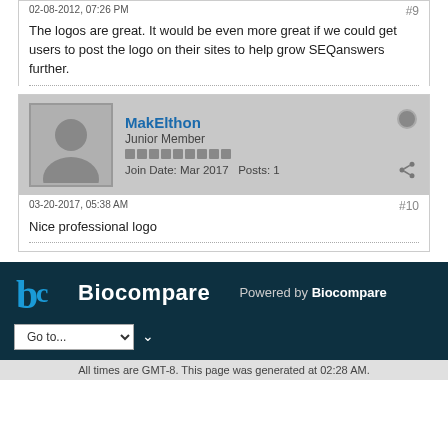02-08-2012, 07:26 PM
#9
The logos are great. It would be even more great if we could get users to post the logo on their sites to help grow SEQanswers further.
MakElthon
Junior Member
Join Date: Mar 2017   Posts: 1
03-20-2017, 05:38 AM
#10
Nice professional logo
[Figure (logo): Biocompare logo with stylized 'bc' icon in blue and white, text 'Biocompare' in white on dark teal background]
Powered by Biocompare
All times are GMT-8. This page was generated at 02:28 AM.